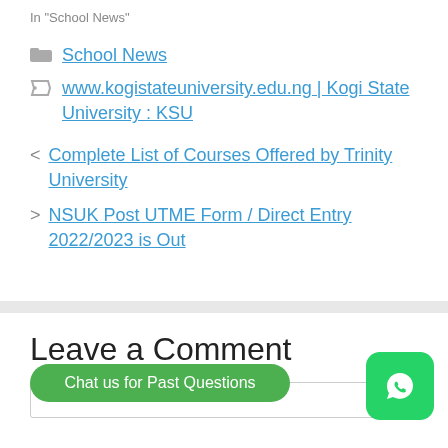In "School News"
School News
www.kogistateuniversity.edu.ng | Kogi State University : KSU
< Complete List of Courses Offered by Trinity University
> NSUK Post UTME Form / Direct Entry 2022/2023 is Out
Leave a Comment
Chat us for Past Questions